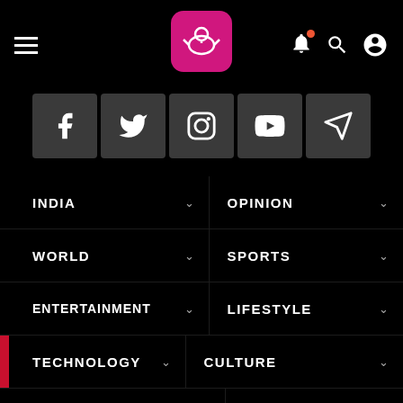[Figure (logo): Magenta rounded square logo with white kangaroo/bird icon - news app logo]
[Figure (infographic): Navigation menu UI screenshot showing social media icons (Facebook, Twitter, Instagram, YouTube, Telegram) and menu items: INDIA, WORLD, ENTERTAINMENT, TECHNOLOGY, BUSINESS on left; OPINION, SPORTS, LIFESTYLE, CULTURE on right]
INDIA
OPINION
WORLD
SPORTS
ENTERTAINMENT
LIFESTYLE
TECHNOLOGY
CULTURE
BUSINESS